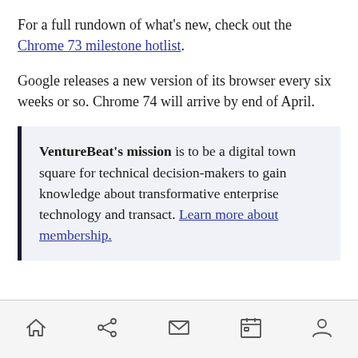For a full rundown of what's new, check out the Chrome 73 milestone hotlist.
Google releases a new version of its browser every six weeks or so. Chrome 74 will arrive by end of April.
VentureBeat's mission is to be a digital town square for technical decision-makers to gain knowledge about transformative enterprise technology and transact. Learn more about membership.
[navigation bar with home, share, mail, calendar, person icons]